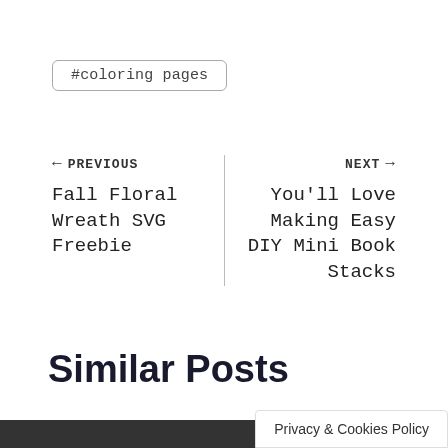#coloring pages
← PREVIOUS
Fall Floral Wreath SVG Freebie
NEXT →
You'll Love Making Easy DIY Mini Book Stacks
Similar Posts
Privacy & Cookies Policy